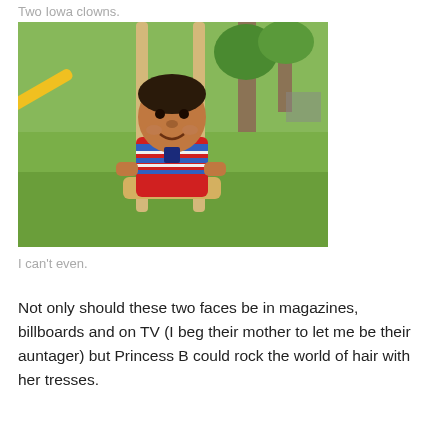Two Iowa clowns.
[Figure (photo): Young child sitting on a swing at a playground, smiling at the camera, wearing a red, blue, and white striped tank top. Background shows green grass and playground equipment.]
I can't even.
Not only should these two faces be in magazines, billboards and on TV (I beg their mother to let me be their auntager) but Princess B could rock the world of hair with her tresses.